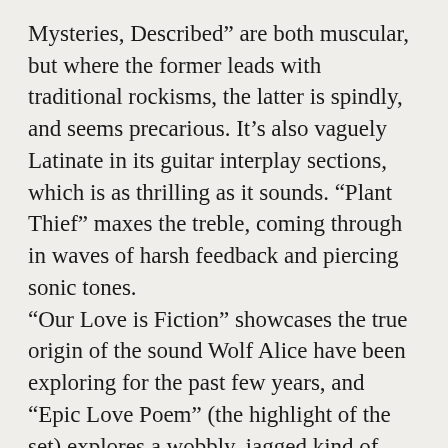Mysteries, Described” are both muscular, but where the former leads with traditional rockisms, the latter is spindly, and seems precarious. It’s also vaguely Latinate in its guitar interplay sections, which is as thrilling as it sounds. “Plant Thief” maxes the treble, coming through in waves of harsh feedback and piercing sonic tones.
“Our Love is Fiction” showcases the true origin of the sound Wolf Alice have been exploring for the past few years, and “Epic Love Poem” (the highlight of the set) explores a wobbly, jagged kind of broken New Wave you’d expect to hear from the more intense end of the spectrum. The closer “Divine Comedy” is a surprisingly…